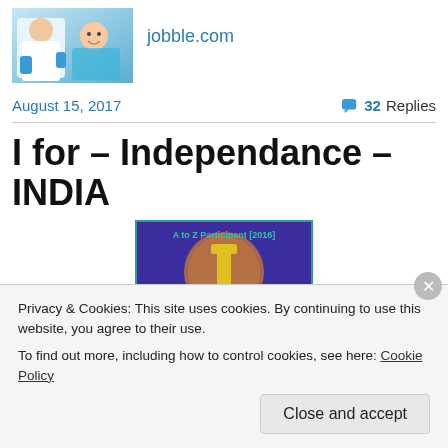[Figure (photo): Thumbnail photo of a dentist/doctor with a child patient wearing blue]
jobble.com
August 15, 2017
32 Replies
I for – Independance – INDIA
[Figure (illustration): A to Z Participant 2016 challenge badge with purple background, circular coin design, and large yellow letter I]
Privacy & Cookies: This site uses cookies. By continuing to use this website, you agree to their use.
To find out more, including how to control cookies, see here: Cookie Policy